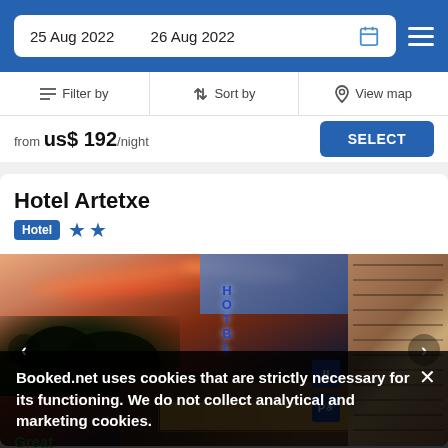25 Aug 2022  26 Aug 2022
Filter by  |  Sort by  |  View map
from us$ 192/night  SELECT
Hotel Artetxe
Hotel ★★
[Figure (photo): Hotel Artetxe exterior photo at sunset showing the building with a glowing orange/red sky, illuminated hotel sign reading HOTEL vertically in blue neon, stone wall on right, parking signs, navigation arrows]
Booked.net uses cookies that are strictly necessary for its functioning. We do not collect analytical and marketing cookies.
Great